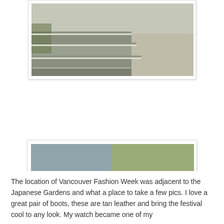[Figure (photo): Photo of concrete steps/stairs outdoors, partially cropped at top of page]
[Figure (photo): Close-up photo of a person's wrist wearing a gold watch with white face and a gold coin charm bracelet, with Japanese garden pond in background]
The location of Vancouver Fashion Week was adjacent to the Japanese Gardens and what a place to take a few pics. I love a great pair of boots, these are tan leather and bring the festival cool to any look. My watch became one of my